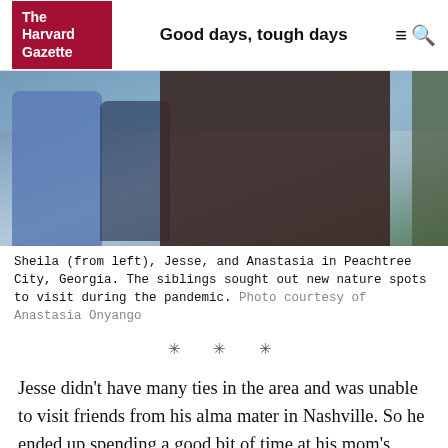The Harvard Gazette — Good days, tough days
[Figure (photo): Three people outdoors near a lake in Peachtree City, Georgia. A woman in a blue denim jacket on the left, a man in a navy t-shirt in the middle, and a smiling woman in a black off-shoulder top on the right. Trees and water visible in background.]
Sheila (from left), Jesse, and Anastasia in Peachtree City, Georgia. The siblings sought out new nature spots to visit during the pandemic. Photo courtesy of Anastasia Onyango
* * *
Jesse didn’t have many ties in the area and was unable to visit friends from his alma mater in Nashville. So he ended up spending a good bit of time at his mom’s house, a development welcomed by all.